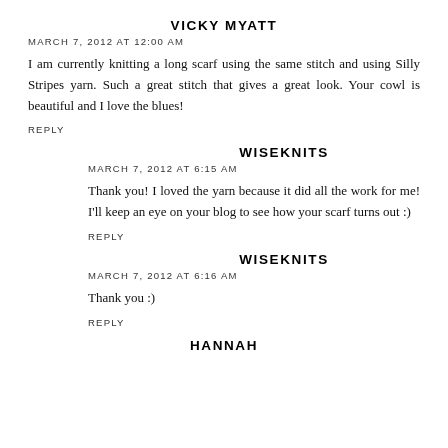VICKY MYATT
MARCH 7, 2012 AT 12:00 AM
I am currently knitting a long scarf using the same stitch and using Silly Stripes yarn. Such a great stitch that gives a great look. Your cowl is beautiful and I love the blues!
REPLY
WISEKNITS
MARCH 7, 2012 AT 6:15 AM
Thank you! I loved the yarn because it did all the work for me! I'll keep an eye on your blog to see how your scarf turns out :)
REPLY
WISEKNITS
MARCH 7, 2012 AT 6:16 AM
Thank you :)
REPLY
HANNAH